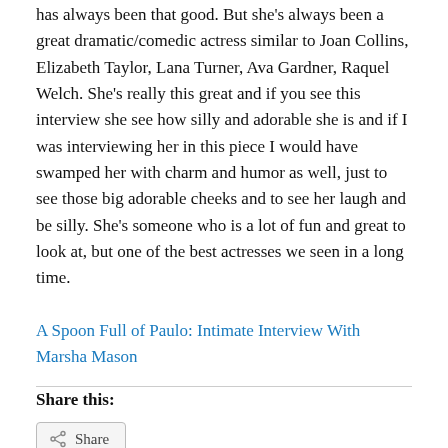has always been that good. But she's always been a great dramatic/comedic actress similar to Joan Collins, Elizabeth Taylor, Lana Turner, Ava Gardner, Raquel Welch. She's really this great and if you see this interview she see how silly and adorable she is and if I was interviewing her in this piece I would have swamped her with charm and humor as well, just to see those big adorable cheeks and to see her laugh and be silly. She's someone who is a lot of fun and great to look at, but one of the best actresses we seen in a long time.
A Spoon Full of Paulo: Intimate Interview With Marsha Mason
Share this: